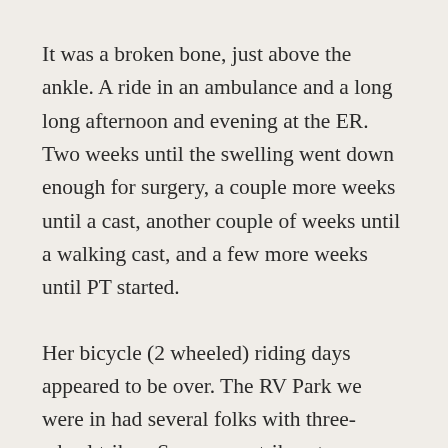It was a broken bone, just above the ankle. A ride in an ambulance and a long long afternoon and evening at the ER. Two weeks until the swelling went down enough for surgery, a couple more weeks until a cast, another couple of weeks until a walking cast, and a few more weeks until PT started.
Her bicycle (2 wheeled) riding days appeared to be over. The RV Park we were in had several folks with three-wheel trikes. Some were trikes, two wheels behind the rider but most, as we learned, were generally referred to as tadpoles, two steering wheels in front of the rider, and a drive wheel behind. We looked at